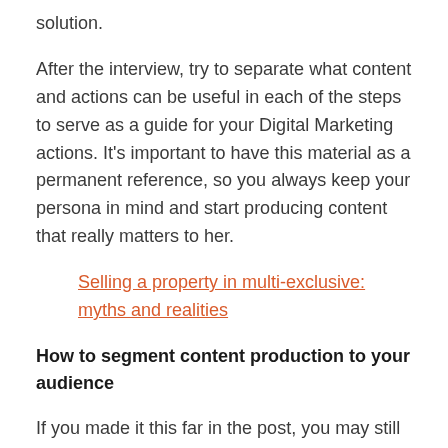solution.
After the interview, try to separate what content and actions can be useful in each of the steps to serve as a guide for your Digital Marketing actions. It’s important to have this material as a permanent reference, so you always keep your persona in mind and start producing content that really matters to her.
Selling a property in multi-exclusive: myths and realities
How to segment content production to your audience
If you made it this far in the post, you may still be thinking that you will need to “shoot in the dark” until